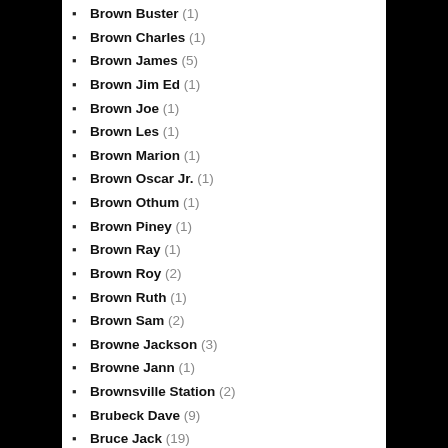Brown Buster (1)
Brown Charles (1)
Brown James (5)
Brown Jim Ed (1)
Brown Joe (1)
Brown Les (1)
Brown Marion (1)
Brown Oscar Jr. (1)
Brown Othum (1)
Brown Piney (1)
Brown Ray (1)
Brown Roy (2)
Brown Ruth (1)
Brown Sam (2)
Browne Jackson (3)
Browne Jann (1)
Brownsville Station (2)
Brubeck Dave (9)
Bruce Jack (19)
Bruch Max (1)
Bruford Bill (1)
Bruni Carla (1)